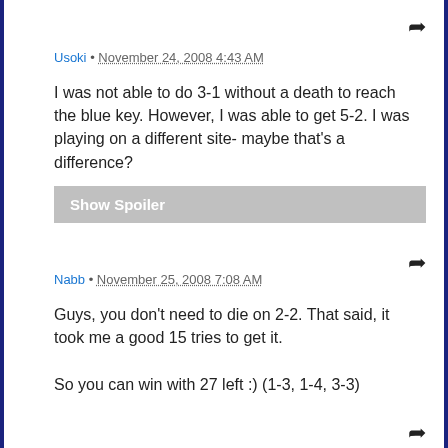Usoki • November 24, 2008 4:43 AM
I was not able to do 3-1 without a death to reach the blue key. However, I was able to get 5-2. I was playing on a different site- maybe that's a difference?
[Figure (other): Show Spoiler button (grey background, white bold text)]
Nabb • November 25, 2008 7:08 AM
Guys, you don't need to die on 2-2. That said, it took me a good 15 tries to get it.

So you can win with 27 left :) (1-3, 1-4, 3-3)